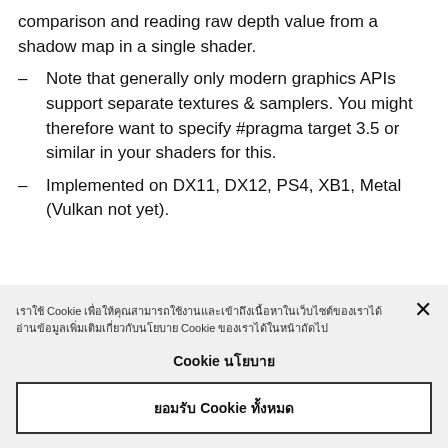comparison and reading raw depth value from a shadow map in a single shader.
Note that generally only modern graphics APIs support separate textures & samplers. You might therefore want to specify #pragma target 3.5 or similar in your shaders for this.
Implemented on DX11, DX12, PS4, XB1, Metal (Vulkan not yet).
เราใช้ Cookie เพื่อให้คุณสามารถใช้งานและเข้าถึงเนื้อหาในเว็บไซต์ของเราได้ อ่านข้อมูลเพิ่มเติมเกี่ยวกับนโยบาย Cookie ของเราได้ในหน้าถัดไป
Cookie นโยบาย
ยอมรับ Cookie ทั้งหมด